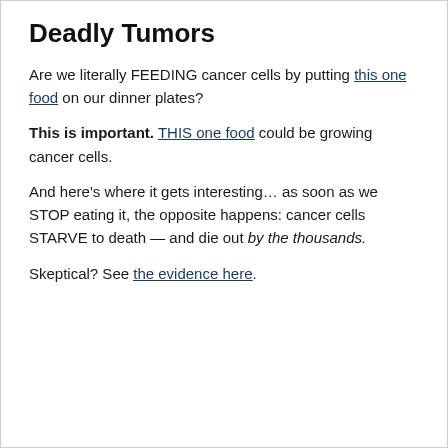Deadly Tumors
Are we literally FEEDING cancer cells by putting this one food on our dinner plates?
This is important. THIS one food could be growing cancer cells.
And here's where it gets interesting… as soon as we STOP eating it, the opposite happens: cancer cells STARVE to death — and die out by the thousands.
Skeptical? See the evidence here.